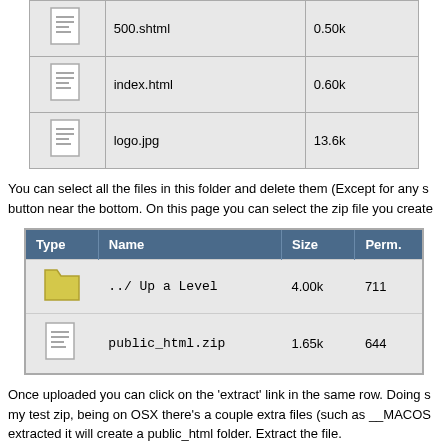| Type | Name | Size |
| --- | --- | --- |
| [doc icon] | 500.shtml | 0.50k |
| [doc icon] | index.html | 0.60k |
| [doc icon] | logo.jpg | 13.6k |
You can select all the files in this folder and delete them (Except for any s button near the bottom. On this page you can select the zip file you create
| Type | Name | Size | Perm. |
| --- | --- | --- | --- |
| [folder icon] | ../ Up a Level | 4.00k | 711 |
| [doc icon] | public_html.zip | 1.65k | 644 |
Once uploaded you can click on the 'extract' link in the same row. Doing s my test zip, being on OSX there's a couple extra files (such as __MACOS extracted it will create a public_html folder. Extract the file.
[Figure (screenshot): Extract dialog showing 'Extract /domains/testaccount.com/public_html/pub' header and Directory field with '/domains/testaccount.co']